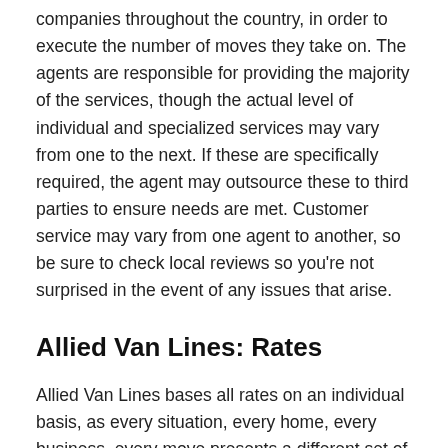companies throughout the country, in order to execute the number of moves they take on. The agents are responsible for providing the majority of the services, though the actual level of individual and specialized services may vary from one to the next. If these are specifically required, the agent may outsource these to third parties to ensure needs are met. Customer service may vary from one agent to another, so be sure to check local reviews so you're not surprised in the event of any issues that arise.
Allied Van Lines: Rates
Allied Van Lines bases all rates on an individual basis, as every situation, every home, every business, every move presents a different set of requirements. Different